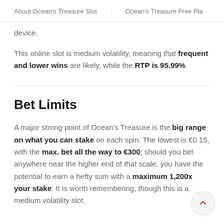About Ocean's Treasure Slot   Ocean's Treasure Free Pla
device.
This online slot is medium volatility, meaning that frequent and lower wins are likely, while the RTP is 95.99%.
Bet Limits
A major strong point of Ocean's Treasure is the big range on what you can stake on each spin. The lowest is €0.15, with the max. bet all the way to €300; should you bet anywhere near the higher end of that scale, you have the potential to earn a hefty sum with a maximum 1,200x your stake. It is worth remembering, though this is a medium volatility slot.